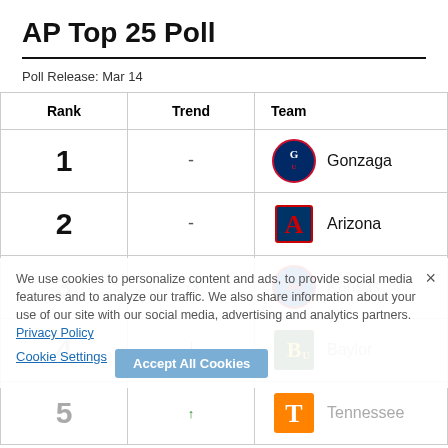AP Top 25 Poll
Poll Release: Mar 14
| Rank | Trend | Team |
| --- | --- | --- |
| 1 | - | Gonzaga |
| 2 | - | Arizona |
| 3 | ↑3 | Kansas |
| 4 | ↓↑ | Baylor |
| 5 | ↑ | Tennessee |
We use cookies to personalize content and ads, to provide social media features and to analyze our traffic. We also share information about your use of our site with our social media, advertising and analytics partners. Privacy Policy
Cookie Settings   Accept All Cookies